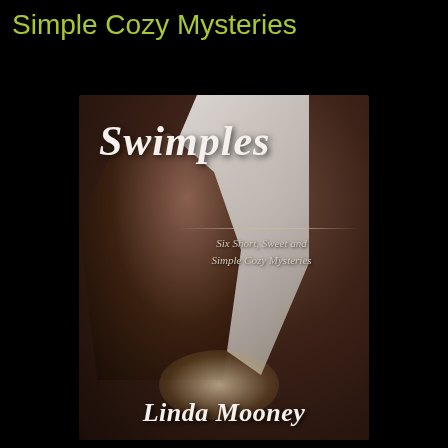Simple Cozy Mysteries
[Figure (photo): Book cover for 'Swimples: Six Short, Sweet and Simple Cozy Mysteries' by Linda Mooney. Shows a young woman with dark hair lying down, looking at a glowing phone screen. The cover has a dark brownish background with draped white fabric. The title 'Swimples' is in large italic script at the top, followed by 'Six Short, Sweet and Simple Cozy Mysteries' as subtitle, and 'Linda Mooney' as the author's name at the bottom in italic script.]